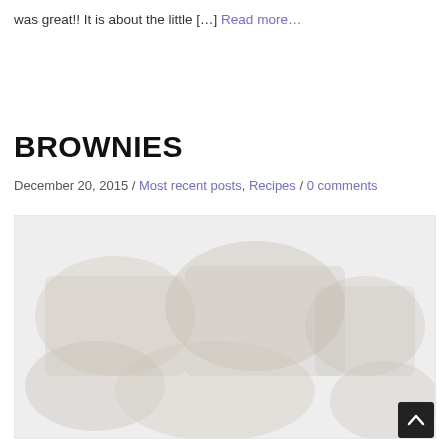was great!! It is about the little […] Read more…
BROWNIES
December 20, 2015 / Most recent posts, Recipes / 0 comments
[Figure (photo): Photo of brownies, faded/light background image]
^ (scroll to top button)